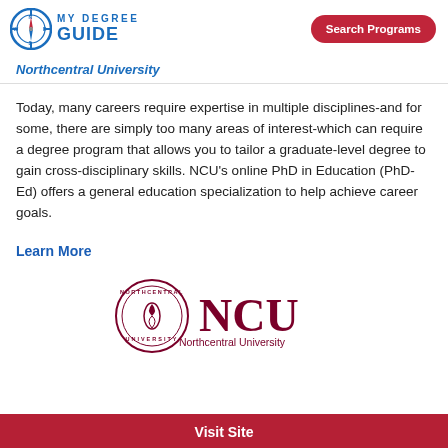MY DEGREE GUIDE | Search Programs
Northcentral University
Today, many careers require expertise in multiple disciplines-and for some, there are simply too many areas of interest-which can require a degree program that allows you to tailor a graduate-level degree to gain cross-disciplinary skills. NCU's online PhD in Education (PhD-Ed) offers a general education specialization to help achieve career goals.
Learn More
[Figure (logo): Northcentral University NCU logo with circular seal and NCU text]
Visit Site